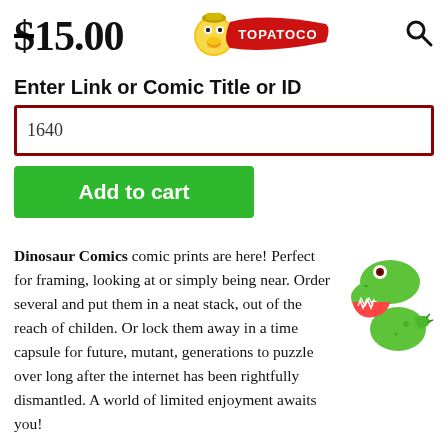$15.00 TOPATOCO [search icon]
Enter Link or Comic Title or ID
1640
Add to cart
Dinosaur Comics comic prints are here! Perfect for framing, looking at or simply being near. Order several and put them in a neat stack, out of the reach of childen. Or lock them away in a time capsule for future, mutant, generations to puzzle over long after the internet has been rightfully dismantled. A world of limited enjoyment awaits you!